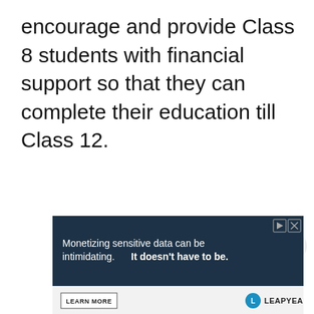encourage and provide Class 8 students with financial support so that they can complete their education till Class 12.
[Figure (screenshot): Advertisement banner for Leapyear. Dark background with text: 'Monetizing sensitive data can be intimidating. It doesn't have to be.' with a LEARN MORE button and Leapyear logo.]